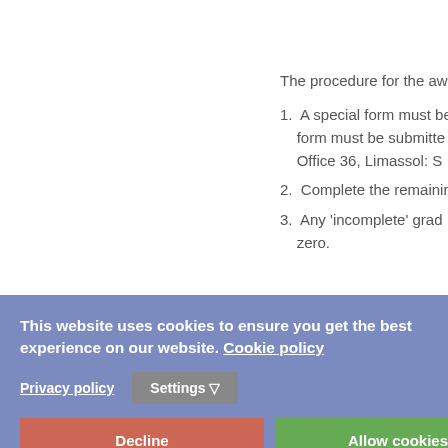The procedure for the award o...
1. A special form must be... form must be submitted... Office 36, Limassol: S...
2. Complete the remainin...
3. Any 'incomplete' gra... zero.
Student Graduation
The student Classification is s... "Excellent" (8.6 - 10), ...yst... (7.0-8.5), ...d" (5.0 - 6.5).
Averaging Grades
The Grade Point Average (G.P.... (G.P.A.) is computed by multi...
This website uses cookies to ensure you get the best experience on our website. Cookie policy
Privacy policy
Settings
Decline
Allow cookies